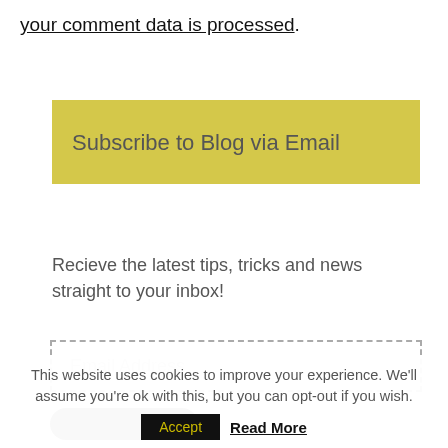your comment data is processed.
Subscribe to Blog via Email
Recieve the latest tips, tricks and news straight to your inbox!
Email Address
This website uses cookies to improve your experience. We'll assume you're ok with this, but you can opt-out if you wish.
Accept  Read More